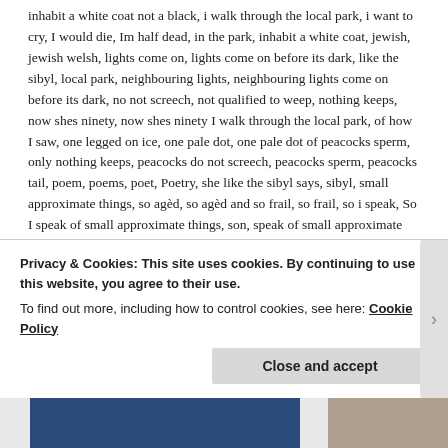inhabit a white coat not a black, i walk through the local park, i want to cry, I would die, Im half dead, in the park, inhabit a white coat, jewish, jewish welsh, lights come on, lights come on before its dark, like the sibyl, local park, neighbouring lights, neighbouring lights come on before its dark, no not screech, not qualified to weep, nothing keeps, now shes ninety, now shes ninety I walk through the local park, of how I saw, one legged on ice, one pale dot, one pale dot of peacocks sperm, only nothing keeps, peacocks do not screech, peacocks sperm, peacocks tail, poem, poems, poet, Poetry, she like the sibyl says, sibyl, small approximate things, so agèd, so agèd and so frail, so frail, so i speak, So I speak of small approximate things, son, speak of small approximate things, spring forth, spring forth all the colours of a peacocks tail, that from one pale dot of peacocks sperm, the usual peacocks do not screech, then complains, This winter, too cold, usual peacocks, wales, walk through the local park, Welsh, welsh iew, welsh iewish, welsh poem, welsh poet,
Privacy & Cookies: This site uses cookies. By continuing to use this website, you agree to their use.
To find out more, including how to control cookies, see here: Cookie Policy